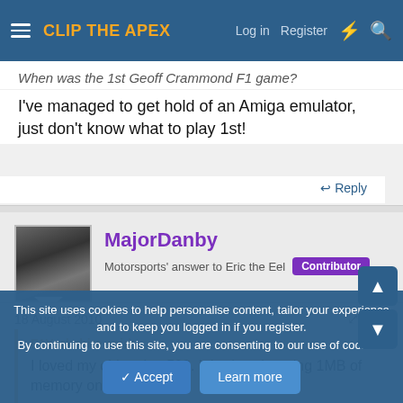CLIP THE APEX
When was the 1st Geoff Crammond F1 game?
I've managed to get hold of an Amiga emulator, just don't know what to play 1st!
Reply
MajorDanby
Motorsports' answer to Eric the Eel  Contributor
18 August 2010  #17
F1Yorkshire said:
I loved my old amiga 500. It had a whopping 1MB of memory once I
This site uses cookies to help personalise content, tailor your experience and to keep you logged in if you register.
By continuing to use this site, you are consenting to our use of cookies.
Accept   Learn more